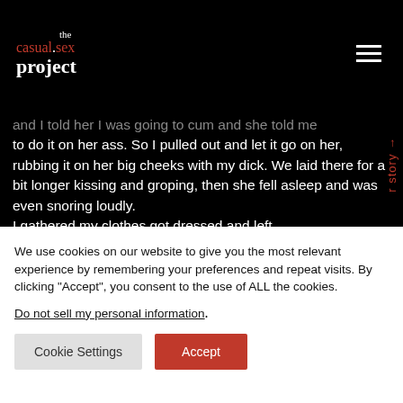the casual.sex project
and I told her I was going to cum and she told me to do it on her ass. So I pulled out and let it go on her, rubbing it on her big cheeks with my dick. We laid there for a bit longer kissing and groping, then she fell asleep and was even snoring loudly.
I gathered my clothes got dressed and left.
How sexually satisfying was this hookup? Very
Did you have an orgasm? Yes, one
We use cookies on our website to give you the most relevant experience by remembering your preferences and repeat visits. By clicking “Accept”, you consent to the use of ALL the cookies.
Do not sell my personal information.